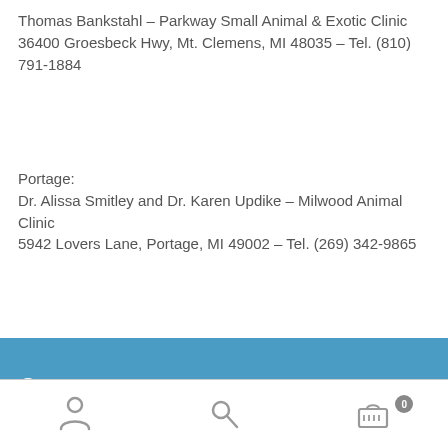Thomas Bankstahl – Parkway Small Animal & Exotic Clinic
36400 Groesbeck Hwy, Mt. Clemens, MI 48035 – Tel. (810) 791-1884
Portage:
Dr. Alissa Smitley and Dr. Karen Updike – Milwood Animal Clinic
5942 Lovers Lane, Portage, MI 49002 – Tel. (269) 342-9865
Warren:
Julie A. Cappel, D.V.M.
29157 Schoenherr, Warren, MI 48088 – Tel. (810) 751-3350
We cannot accept returns
Dismiss
Vets – Cedar Creek Veterinary and Exotic Bird Clinic
2295 W. Willowston Road, Williamston, MI 48895 – Tel. (517) 655-4906 (East of Lansing)